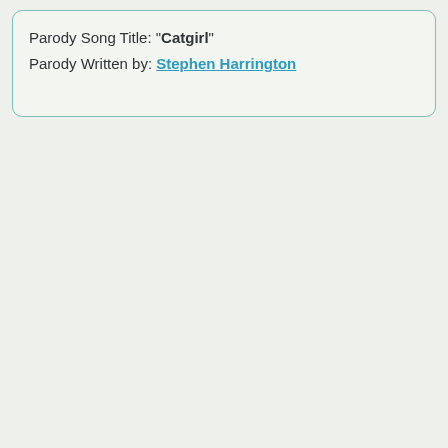Parody Song Title: "Catgirl"
Parody Written by: Stephen Harrington